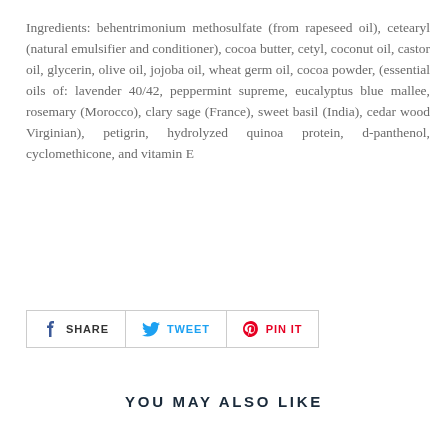Ingredients: behentrimonium methosulfate (from rapeseed oil), cetearyl (natural emulsifier and conditioner), cocoa butter, cetyl, coconut oil, castor oil, glycerin, olive oil, jojoba oil, wheat germ oil, cocoa powder, (essential oils of: lavender 40/42, peppermint supreme, eucalyptus blue mallee, rosemary (Morocco), clary sage (France), sweet basil (India), cedar wood Virginian), petigrin, hydrolyzed quinoa protein, d-panthenol, cyclomethicone, and vitamin E
SHARE  TWEET  PIN IT